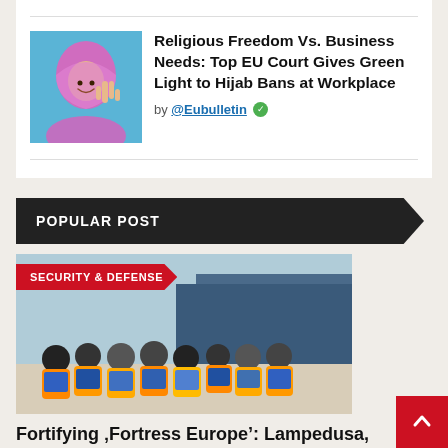[Figure (photo): Woman in pink hijab smiling and making a peace sign with her hand]
Religious Freedom Vs. Business Needs: Top EU Court Gives Green Light to Hijab Bans at Workplace
by @Eubulletin
POPULAR POST
[Figure (photo): Group of migrants in orange life vests seen from behind on a boat deck, with a large blue vessel in the background]
SECURITY & DEFENSE
Fortifying 'Fortress Europe': Lampedusa, Lithuania, Hungary, Western Balkans and Cyprus in